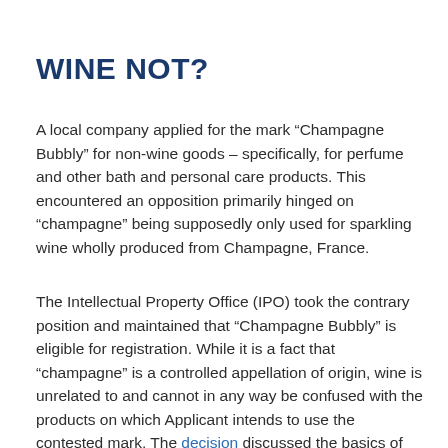WINE NOT?
A local company applied for the mark “Champagne Bubbly” for non-wine goods – specifically, for perfume and other bath and personal care products. This encountered an opposition primarily hinged on “champagne” being supposedly only used for sparkling wine wholly produced from Champagne, France.
The Intellectual Property Office (IPO) took the contrary position and maintained that “Champagne Bubbly” is eligible for registration. While it is a fact that “champagne” is a controlled appellation of origin, wine is unrelated to and cannot in any way be confused with the products on which Applicant intends to use the contested mark. The decision discussed the basics of trademarks laws: that